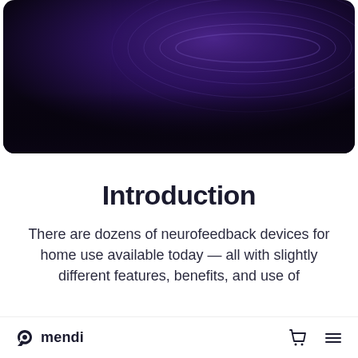[Figure (photo): Dark purple/indigo toned hero image with a brain or wave-like abstract shape visible, fading to black at the bottom. Rounded corners on the image.]
Introduction
There are dozens of neurofeedback devices for home use available today — all with slightly different features, benefits, and use of
mendi   [cart icon]  [menu icon]